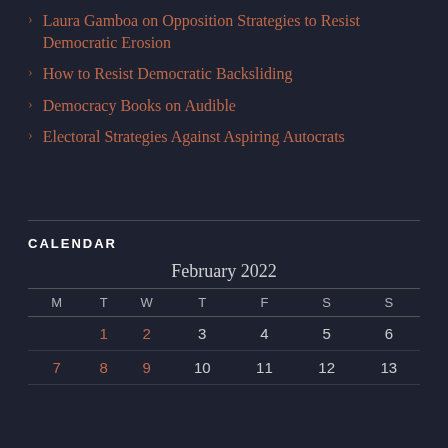Laura Gamboa on Opposition Strategies to Resist Democratic Erosion
How to Resist Democratic Backsliding
Democracy Books on Audible
Electoral Strategies Against Aspiring Autocrats
CALENDAR
| M | T | W | T | F | S | S |
| --- | --- | --- | --- | --- | --- | --- |
|  | 1 | 2 | 3 | 4 | 5 | 6 |
| 7 | 8 | 9 | 10 | 11 | 12 | 13 |